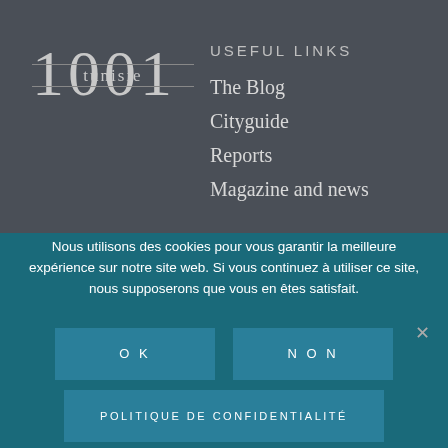[Figure (logo): 1001 Tunisie logo with large numeral text and 'tunisie' overlaid in the middle]
USEFUL LINKS
The Blog
Cityguide
Reports
Magazine and news
ABONNEZ-VOUS
Facebook
SUBSCRIBE
Nous utilisons des cookies pour vous garantir la meilleure expérience sur notre site web. Si vous continuez à utiliser ce site, nous supposerons que vous en êtes satisfait.
OK
NON
POLITIQUE DE CONFIDENTIALITÉ